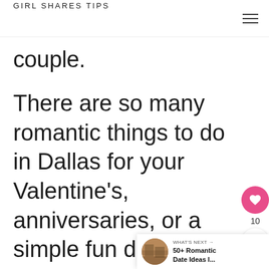GIRL SHARES TIPS
couple.
There are so many romantic things to do in Dallas for your Valentine's, anniversaries, or a simple fun date night. From
[Figure (other): Social sharing widget with heart/like button (pink circle, heart icon), count of 10, and share button]
[Figure (other): What's Next bar: thumbnail image with text '50+ Romantic Date Ideas I...']